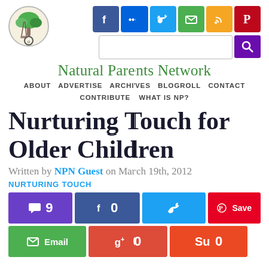[Figure (logo): Natural Parents Network circular tree logo]
[Figure (screenshot): Social media icon buttons: Facebook, Flickr, Twitter, Email, RSS, Pinterest in top nav row, plus search box with purple search button]
Natural Parents Network
ABOUT   ADVERTISE   ARCHIVES   BLOGROLL   CONTACT   CONTRIBUTE   WHAT IS NP?
Nurturing Touch for Older Children
Written by NPN Guest on March 19th, 2012
NURTURING TOUCH
[Figure (screenshot): Social sharing buttons row 1: comment button (9), Facebook (0), Twitter, Pinterest Save]
[Figure (screenshot): Social sharing buttons row 2: Email, Google+ (0), StumbleUpon (0)]